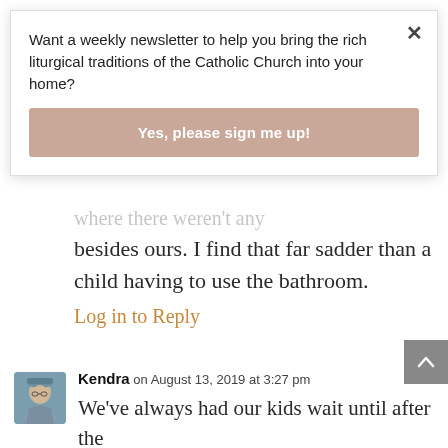Want a weekly newsletter to help you bring the rich liturgical traditions of the Catholic Church into your home?
Yes, please sign me up!
where there weren't any besides ours. I find that far sadder than a child having to use the bathroom.
Log in to Reply
Kendra on August 13, 2019 at 3:27 pm
We've always had our kids wait until after the